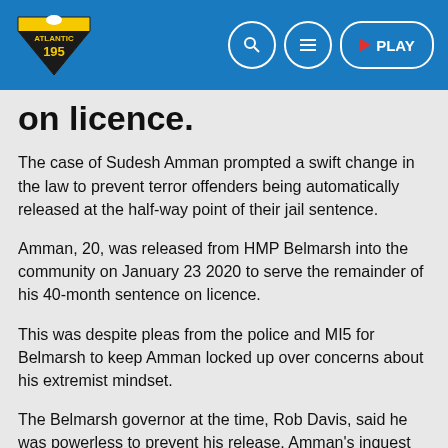[Figure (logo): Atlantic 195 radio station logo in yellow and black with blue background header bar]
on licence.
The case of Sudesh Amman prompted a swift change in the law to prevent terror offenders being automatically released at the half-way point of their jail sentence.
Amman, 20, was released from HMP Belmarsh into the community on January 23 2020 to serve the remainder of his 40-month sentence on licence.
This was despite pleas from the police and MI5 for Belmarsh to keep Amman locked up over concerns about his extremist mindset.
The Belmarsh governor at the time, Rob Davis, said he was powerless to prevent his release, Amman's inquest heard.
Amman, convicted in 2018 of 13 counts of collecting material useful for terrorism and disseminating terrorist publications,